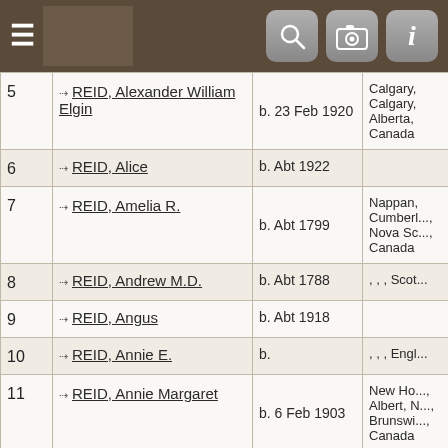[Figure (screenshot): Navigation bar with hamburger menu icon and three icon buttons (search, camera, info) on dark brown background]
| # | Name | Birth | Place |
| --- | --- | --- | --- |
| 5 | REID, Alexander William Elgin | b. 23 Feb 1920 | Calgary, Calgary, Alberta, Canada |
| 6 | REID, Alice | b. Abt 1922 |  |
| 7 | REID, Amelia R. | b. Abt 1799 | Nappan, Cumberl..., Nova Sc..., Canada |
| 8 | REID, Andrew M.D. | b. Abt 1788 | , , , Scot... |
| 9 | REID, Angus | b. Abt 1918 |  |
| 10 | REID, Annie E. | b. | , , , Engl... |
| 11 | REID, Annie Margaret | b. 6 Feb 1903 | New Ho..., Albert, N..., Brunswi..., Canada |
| 12 | REID, Archie Harold | b. 22 Mar 1897 | , Cumbe..., Nova Sc..., Canada |
| 13 | REID, Arthur R. | b. Abt 1908 | Can... |